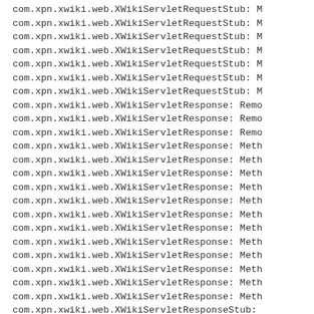com.xpn.xwiki.web.XWikiServletRequestStub: M
com.xpn.xwiki.web.XWikiServletRequestStub: M
com.xpn.xwiki.web.XWikiServletRequestStub: M
com.xpn.xwiki.web.XWikiServletRequestStub: M
com.xpn.xwiki.web.XWikiServletRequestStub: M
com.xpn.xwiki.web.XWikiServletRequestStub: M
com.xpn.xwiki.web.XWikiServletRequestStub: M
com.xpn.xwiki.web.XWikiServletResponse: Remo
com.xpn.xwiki.web.XWikiServletResponse: Remo
com.xpn.xwiki.web.XWikiServletResponse: Remo
com.xpn.xwiki.web.XWikiServletResponse: Meth
com.xpn.xwiki.web.XWikiServletResponse: Meth
com.xpn.xwiki.web.XWikiServletResponse: Meth
com.xpn.xwiki.web.XWikiServletResponse: Meth
com.xpn.xwiki.web.XWikiServletResponse: Meth
com.xpn.xwiki.web.XWikiServletResponse: Meth
com.xpn.xwiki.web.XWikiServletResponse: Meth
com.xpn.xwiki.web.XWikiServletResponse: Meth
com.xpn.xwiki.web.XWikiServletResponse: Meth
com.xpn.xwiki.web.XWikiServletResponse: Meth
com.xpn.xwiki.web.XWikiServletResponse: Meth
com.xpn.xwiki.web.XWikiServletResponse: Meth
com.xpn.xwiki.web.XWikiServletResponseStub: